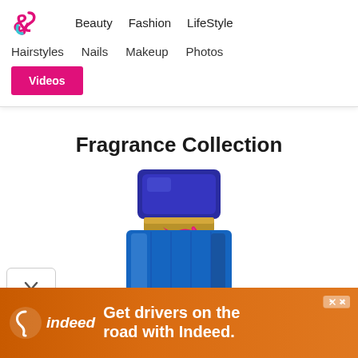Beauty   Fashion   LifeStyle   Hairstyles   Nails   Makeup   Photos   Videos
Fragrance Collection
[Figure (photo): Blue perfume bottle with dark blue faceted cap and a bright pink rope/cord tied around the neck, gold collar band, photographed from above against white background]
[Figure (infographic): Indeed advertisement banner: orange gradient background with Indeed logo (white swirl icon and 'indeed' text) and white bold text 'Get drivers on the road with Indeed.']